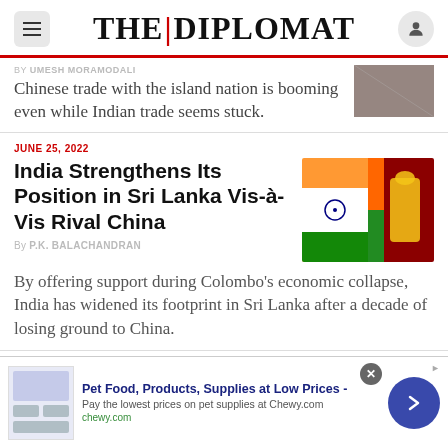THE | DIPLOMAT
By UMESH MORAMODALI
Chinese trade with the island nation is booming even while Indian trade seems stuck.
JUNE 25, 2022
India Strengthens Its Position in Sri Lanka Vis-à-Vis Rival China
By P.K. BALACHANDRAN
By offering support during Colombo's economic collapse, India has widened its footprint in Sri Lanka after a decade of losing ground to China.
[Figure (photo): Indian and Sri Lankan flags side by side]
Pet Food, Products, Supplies at Low Prices - Pay the lowest prices on pet supplies at Chewy.com chewy.com